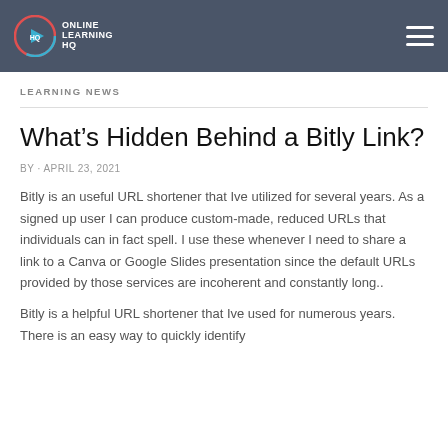ONLINE LEARNING HQ
LEARNING NEWS
What’s Hidden Behind a Bitly Link?
BY · APRIL 23, 2021
Bitly is an useful URL shortener that Ive utilized for several years. As a signed up user I can produce custom-made, reduced URLs that individuals can in fact spell. I use these whenever I need to share a link to a Canva or Google Slides presentation since the default URLs provided by those services are incoherent and constantly long..
Bitly is a helpful URL shortener that Ive used for numerous years. There is an easy way to quickly identify